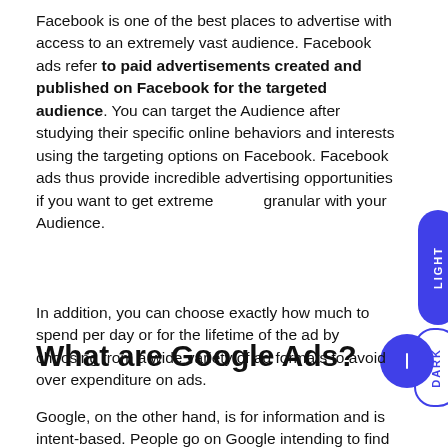Facebook is one of the best places to advertise with access to an extremely vast audience. Facebook ads refer to paid advertisements created and published on Facebook for the targeted audience. You can target the Audience after studying their specific online behaviors and interests using the targeting options on Facebook. Facebook ads thus provide incredible advertising opportunities if you want to get extremely granular with your Audience.
In addition, you can choose exactly how much to spend per day or for the lifetime of the ad by choosing from a wide variety of ad formats to avoid over expenditure on ads.
What are Google Ads?
Google, on the other hand, is for information and is intent-based. People go on Google intending to find out